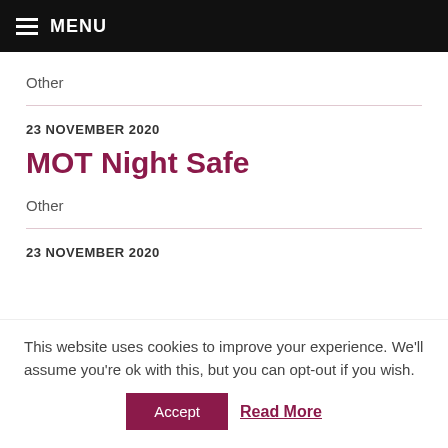MENU
Other
23 NOVEMBER 2020
MOT Night Safe
Other
23 NOVEMBER 2020
This website uses cookies to improve your experience. We'll assume you're ok with this, but you can opt-out if you wish.